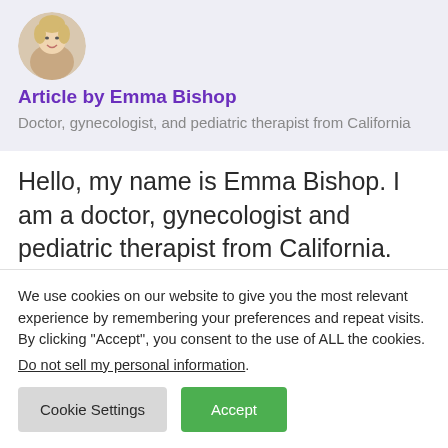[Figure (photo): Circular profile photo of Emma Bishop, a blonde woman smiling]
Article by Emma Bishop
Doctor, gynecologist, and pediatric therapist from California
Hello, my name is Emma Bishop. I am a doctor, gynecologist and pediatric therapist from California. Last 10+ years I help women to become mothers and
We use cookies on our website to give you the most relevant experience by remembering your preferences and repeat visits. By clicking “Accept”, you consent to the use of ALL the cookies.
Do not sell my personal information.